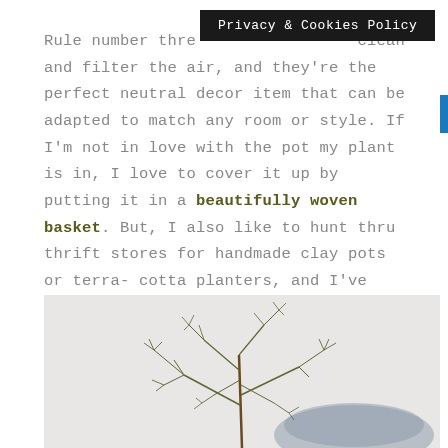Privacy & Cookies Policy
Rule number three [obscured] clean and filter the air, and they're the perfect neutral decor item that can be adapted to match any room or style. If I'm not in love with the pot my plant is in, I love to cover it up by putting it in a beautifully woven basket. But, I also like to hunt thru thrift stores for handmade clay pots or terra-cotta planters, and I've found some fantastic deals that way!
[Figure (photo): A delicate plant with fine green needle-like branches, placed in a woven basket, against a light gray background.]